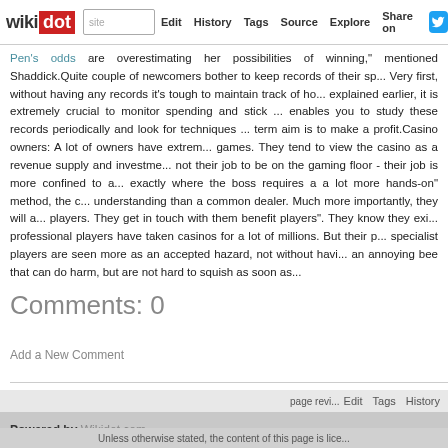wikidot | site | Edit | History | Tags | Source | Explore | Share on
Pen's odds are overestimating her possibilities of winning," mentioned Shaddick.Quite couple of newcomers bother to keep records of their sp... Very first, without having any records it's tough to maintain track of ho... explained earlier, it is extremely crucial to monitor spending and stick ... enables you to study these records periodically and look for techniques ... term aim is to make a profit.Casino owners: A lot of owners have extrem... games. They tend to view the casino as a revenue supply and investme... not their job to be on the gaming floor - their job is more confined to a... exactly where the boss requires a a lot more hands-on" method, the c... understanding than a common dealer. Much more importantly, they will a... players. They get in touch with them benefit players". They know they exi... professional players have taken casinos for a lot of millions. But their p... specialist players are seen more as an accepted hazard, not without havi... an annoying bee that can do harm, but are not hard to squish as soon as...
Comments: 0
Add a New Comment
page revi... Edit  Tags  History
Powered by Wikidot.com
Unless otherwise stated, the content of this page is lice...